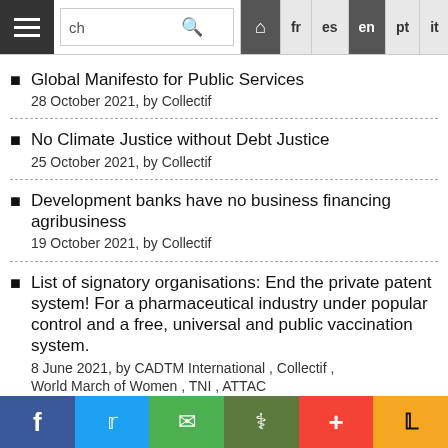Navigation bar with search and language options: fr, es, en, pt, it, de, Arabic
Global Manifesto for Public Services
28 October 2021, by Collectif
No Climate Justice without Debt Justice
25 October 2021, by Collectif
Development banks have no business financing agribusiness
19 October 2021, by Collectif
List of signatory organisations: End the private patent system! For a pharmaceutical industry under popular control and a free, universal and public vaccination system.
8 June 2021, by CADTM International , Collectif , World March of Women , TNI , ATTAC
List of the first 360 signatures of people who
Social share bar: Facebook, Twitter, Email, Print, Plus, Pushbullet